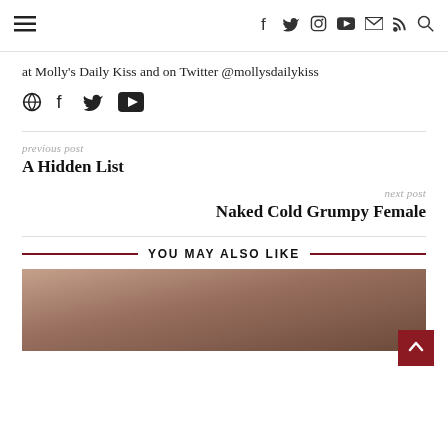Navigation bar with hamburger menu and social icons (f, twitter, instagram, youtube, mail, rss, search)
at Molly's Daily Kiss and on Twitter @mollysdailykiss
[Figure (other): Row of social media icon links: globe, facebook, twitter, youtube]
previous post
A Hidden List
next post
Naked Cold Grumpy Female
YOU MAY ALSO LIKE
[Figure (photo): Bottom partial image showing hands, appears to be a close-up photo with warm brown tones]